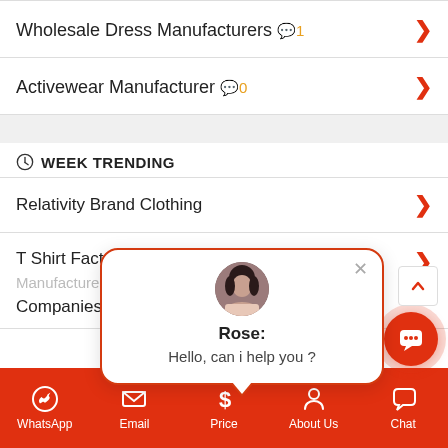Wholesale Dress Manufacturers 💬1
Activewear Manufacturer 💬0
⏱ WEEK TRENDING
Relativity Brand Clothing
T Shirt Factory In Vietnam T shirt Supplier Manufacturer Companies
[Figure (screenshot): Chat popup with avatar of Rose saying 'Hello, can i help you ?']
WhatsApp  Email  Price  About Us  Chat